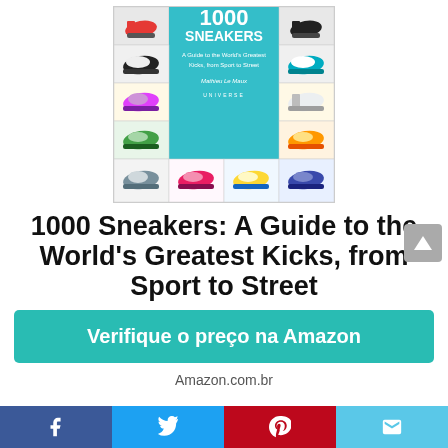[Figure (photo): Book cover of '1000 Sneakers: A Guide to the World's Greatest Kicks, from Sport to Street' by Mathieu Le Maux, published by Universe. Cover shows a cyan/teal center panel with title, surrounded by a grid of colorful sneaker photos.]
1000 Sneakers: A Guide to the World's Greatest Kicks, from Sport to Street
Verifique o preço na Amazon
Amazon.com.br
[Figure (infographic): Social media sharing bar with Facebook (blue), Twitter (light blue), Pinterest (red), and email (light blue) icons at the bottom of the page.]